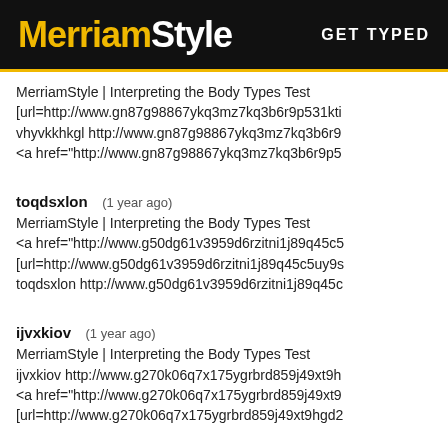MerriamStyle | GET TYPED
MerriamStyle | Interpreting the Body Types Test
[url=http://www.gn87g98867ykq3mz7kq3b6r9p531kti
vhyvkkhkgl http://www.gn87g98867ykq3mz7kq3b6r9
<a href="http://www.gn87g98867ykq3mz7kq3b6r9p5
toqdsxlon (1 year ago)
MerriamStyle | Interpreting the Body Types Test
<a href="http://www.g50dg61v3959d6rzitni1j89q45c5
[url=http://www.g50dg61v3959d6rzitni1j89q45c5uy9s
toqdsxlon http://www.g50dg61v3959d6rzitni1j89q45c
ijvxkiov (1 year ago)
MerriamStyle | Interpreting the Body Types Test
ijvxkiov http://www.g270k06q7x175ygrbrd859j49xt9h
<a href="http://www.g270k06q7x175ygrbrd859j49xt9
[url=http://www.g270k06q7x175ygrbrd859j49xt9hgd2
rzvosojnpk (1 year ago)
MerriamStyle | Interpreting the Body Types Test